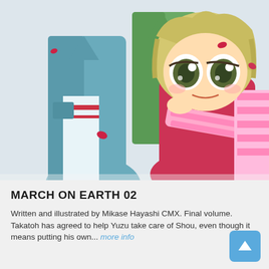[Figure (illustration): Manga/anime style illustration showing two characters: a taller figure in a teal/blue jacket on the left, and a younger chibi-style character with large green eyes, blonde hair, and a pink-and-white striped scarf on the right holding pink flowers. Red flower petals float in the air.]
MARCH ON EARTH 02
Written and illustrated by Mikase Hayashi CMX. Final volume. Takatoh has agreed to help Yuzu take care of Shou, even though it means putting his own... more info